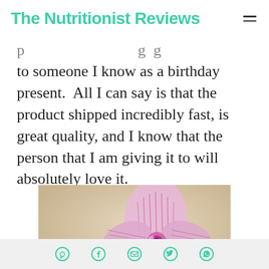The Nutritionist Reviews
to someone I know as a birthday present.  All I can say is that the product shipped incredibly fast, is great quality, and I know that the person that I am giving it to will absolutely love it.
[Figure (photo): Close-up photograph of a pink and purple orchid flower with striped petals against a beige/tan background]
Social share icons: Pinterest, Facebook, Email, Twitter, WhatsApp